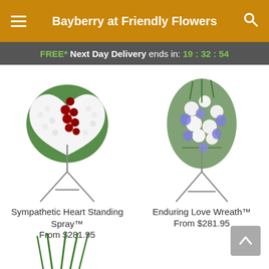Bayberry at Friendly Flowers
FREE* Next Day Delivery ends in: 19:32:54
[Figure (photo): White heart-shaped floral standing spray with dark red roses on an easel stand]
Sympathetic Heart Standing Spray™
From $281.95
[Figure (photo): Blue and white flower wreath/spray arrangement on an easel stand]
Enduring Love Wreath™
From $281.95
[Figure (photo): Partial view of a third floral arrangement at bottom of page]